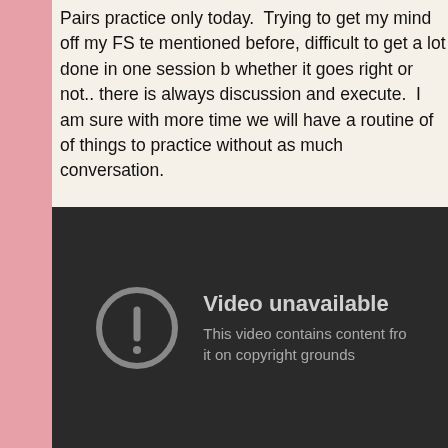Pairs practice only today.  Trying to get my mind off my FS te... mentioned before, difficult to get a lot done in one session b... whether it goes right or not.. there is always discussion and ... execute.  I am sure with more time we will have a routine of ... of things to practice without as much conversation.
[Figure (screenshot): YouTube video unavailable message on dark background. Shows a circle with exclamation mark icon and text: 'Video unavailable' and 'This video contains content fro... it on copyright grounds']